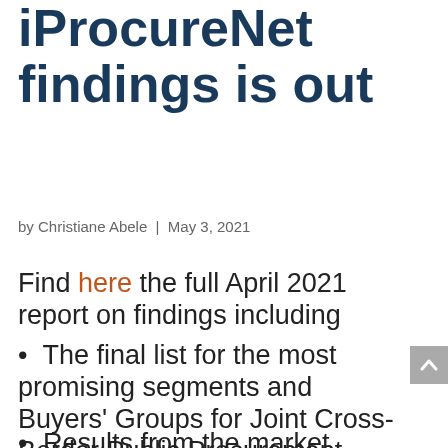iProcureNet findings is out
by Christiane Abele | May 3, 2021
Find here the full April 2021 report on findings including
The final list for the most promising segments and Buyers' Groups for Joint Cross-Border Public Procurement (JCBPP) from cycle I;
Results from the market